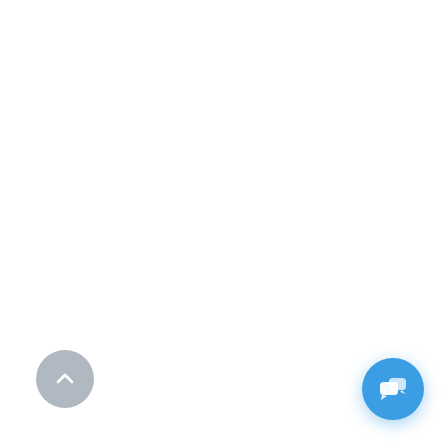[Figure (screenshot): Chat popup widget with a circular avatar photo of a person with glasses and dark hair, a close (X) button, and the message 'Have questions? I'm happy to help.']
Have questions? I'm happy to help.
[Figure (other): Circular grey scroll-to-top button with a white upward chevron arrow]
[Figure (other): Circular blue chat launcher button with a white speech bubble icon]